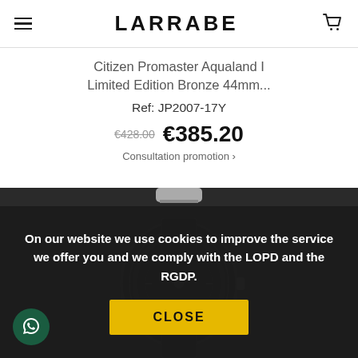LARRABE
Citizen Promaster Aqualand I Limited Edition Bronze 44mm...
Ref: JP2007-17Y
€428.00 €385.20
Consultation promotion ›
[Figure (photo): Black Citizen Promaster Aqualand watch on dark background]
On our website we use cookies to improve the service we offer you and we comply with the LOPD and the RGDP.
CLOSE